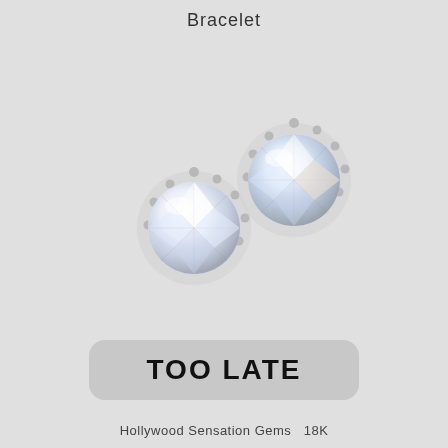Bracelet
[Figure (photo): Two diamond halo stud earrings with round brilliant cut crystals surrounded by small silver beaded halo settings, shown on a light grey background.]
TOO LATE
Hollywood Sensation Gems 18K